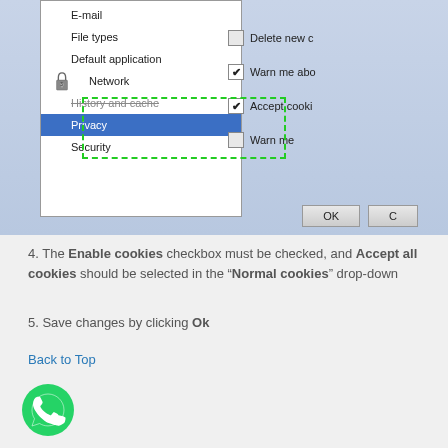[Figure (screenshot): Browser preferences dialog screenshot showing a left navigation menu with items: E-mail, File types, Default application, Network (with lock icon), History and cache (strikethrough), Privacy (selected/highlighted in blue), Security. A dashed green border surrounds 'History and cache' and 'Privacy'. The right panel shows checkboxes: Delete new c[ookies] (unchecked), Warn me abo[ut] (checked), Accept cooki[es] (checked), Warn me (unchecked). An OK button is visible at the bottom.]
4. The Enable cookies checkbox must be checked, and Accept all cookies should be selected in the "Normal cookies" drop-down
5. Save changes by clicking Ok
Back to Top
[Figure (logo): WhatsApp green circular icon with white phone handset]